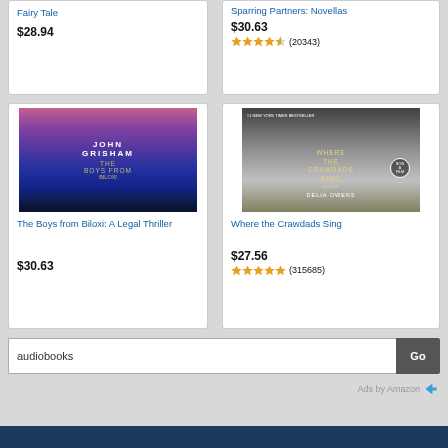Fairy Tale
$28.94
Sparring Partners: Novellas
$30.63
(20343)
[Figure (photo): Book cover: The Boys from Biloxi: A Legal Thriller by John Grisham]
The Boys from Biloxi: A Legal Thriller
$30.63
[Figure (photo): Book cover: Where the Crawdads Sing by Delia Owens]
Where the Crawdads Sing
$27.56
(315685)
audiobooks
Go
Ads by Amazon